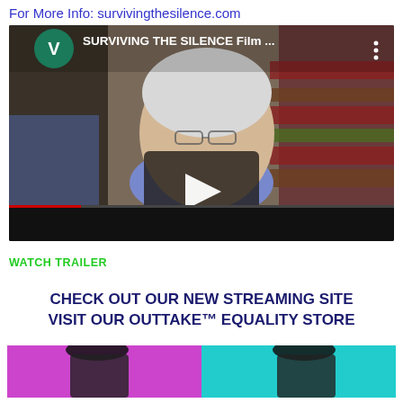For More Info: survivingthesilence.com
[Figure (screenshot): YouTube-style video thumbnail showing an elderly woman with white/silver hair and glasses wearing a blue turtleneck sweater, with a play button overlay in the center. The video title reads 'SURVIVING THE SILENCE Film ...' with a green V avatar icon in the top left and a three-dot menu icon in the top right. The bottom portion shows a dark control bar.]
WATCH TRAILER
CHECK OUT OUR NEW STREAMING SITE
VISIT OUR OUTTAKE™ EQUALITY STORE
[Figure (screenshot): Bottom portion of a product/store image showing items on purple and cyan/turquoise backgrounds, partially cut off at the bottom of the page.]